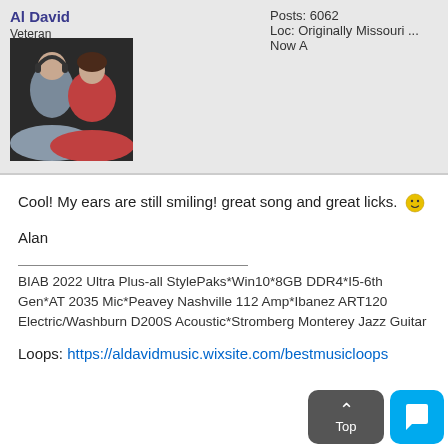Al David — Veteran
Posts: 6062
Loc: Originally Missouri ... Now A
[Figure (photo): Profile photo of two people, a man and a woman, smiling and close together]
Cool! My ears are still smiling! great song and great licks. 🙂

Alan
BIAB 2022 Ultra Plus-all StylePaks*Win10*8GB DDR4*I5-6th Gen*AT 2035 Mic*Peavey Nashville 112 Amp*Ibanez ART120 Electric/Washburn D200S Acoustic*Stromberg Monterey Jazz Guitar
Loops: https://aldavidmusic.wixsite.com/bestmusicloops